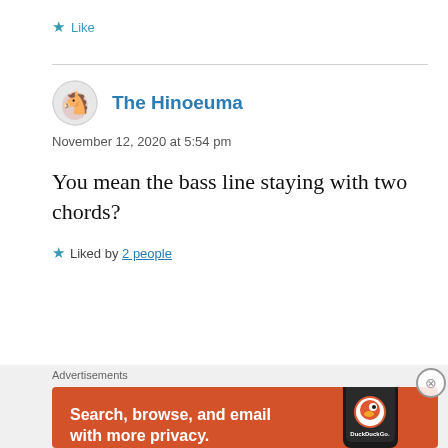★ Like
The Hinoeuma
November 12, 2020 at 5:54 pm
You mean the bass line staying with two chords?
★ Liked by 2 people
Advertisements
[Figure (screenshot): DuckDuckGo advertisement banner with orange background showing text 'Search, browse, and email with more privacy. All in One Free App' with phone image and DuckDuckGo logo]